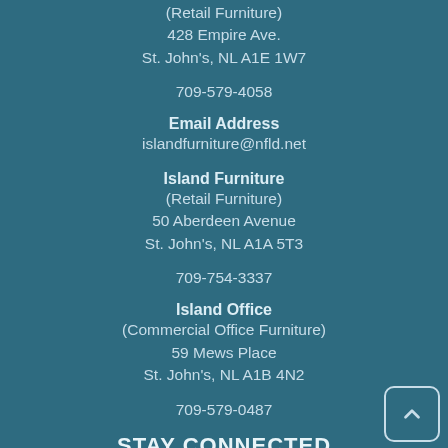(Retail Furniture)
428 Empire Ave.
St. John's, NL A1E 1W7
709-579-4058
Email Address
islandfurniture@nfld.net
Island Furniture
(Retail Furniture)
50 Aberdeen Avenue
St. John's, NL A1A 5T3
709-754-3337
Island Office
(Commercial Office Furniture)
59 Mews Place
St. John's, NL A1B 4N2
709-579-0487
STAY CONNECTED
[Figure (logo): Facebook icon button]